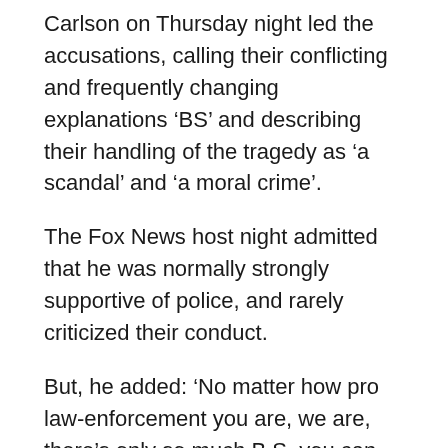Carlson on Thursday night led the accusations, calling their conflicting and frequently changing explanations ‘BS’ and describing their handling of the tragedy as ‘a scandal’ and ‘a moral crime’.
The Fox News host night admitted that he was normally strongly supportive of police, and rarely criticized their conduct.
But, he added: ‘No matter how pro law-enforcement you are, we are, there’s only so much B.S. you can take in the face of a tragedy like this.’
Carlson said he was horrified by reports of an